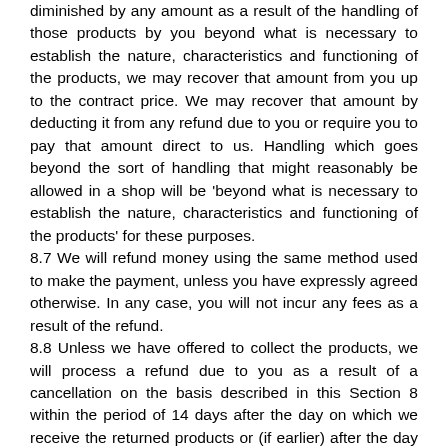diminished by any amount as a result of the handling of those products by you beyond what is necessary to establish the nature, characteristics and functioning of the products, we may recover that amount from you up to the contract price. We may recover that amount by deducting it from any refund due to you or require you to pay that amount direct to us. Handling which goes beyond the sort of handling that might reasonably be allowed in a shop will be 'beyond what is necessary to establish the nature, characteristics and functioning of the products' for these purposes.
8.7 We will refund money using the same method used to make the payment, unless you have expressly agreed otherwise. In any case, you will not incur any fees as a result of the refund.
8.8 Unless we have offered to collect the products, we will process a refund due to you as a result of a cancellation on the basis described in this Section 8 within the period of 14 days after the day on which we receive the returned products or (if earlier) after the day on which you supply to us evidence of having sent the products back. If we have not sent the products to you at the time of withdrawal or cancellation or have offered to collect the products, we will